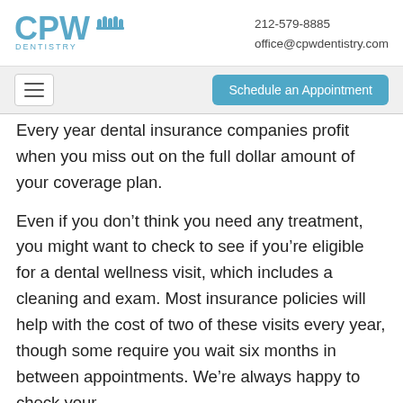CPW Dentistry | 212-579-8885 | office@cpwdentistry.com
[Figure (logo): CPW Dentistry logo with stylized teeth icon above 'DENTISTRY' text in blue]
Schedule an Appointment
Every year dental insurance companies profit when you miss out on the full dollar amount of your coverage plan.
Even if you don't think you need any treatment, you might want to check to see if you're eligible for a dental wellness visit, which includes a cleaning and exam. Most insurance policies will help with the cost of two of these visits every year, though some require you wait six months in between appointments. We're always happy to check your